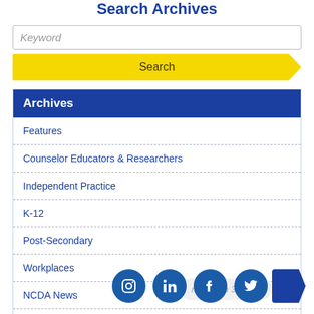Search Archives
Keyword
Search
Archives
Features
Counselor Educators & Researchers
Independent Practice
K-12
Post-Secondary
Workplaces
NCDA News
Tech Tips
minimum 3 chars